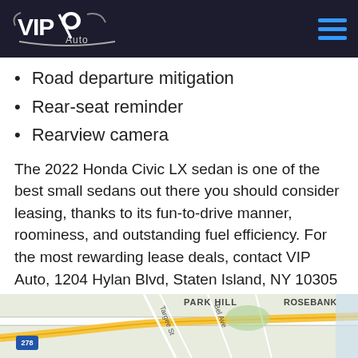VIP Auto
Road departure mitigation
Rear-seat reminder
Rearview camera
The 2022 Honda Civic LX sedan is one of the best small sedans out there you should consider leasing, thanks to its fun-to-drive manner, roominess, and outstanding fuel efficiency. For the most rewarding lease deals, contact VIP Auto, 1204 Hylan Blvd, Staten Island, NY 10305 https://viplease.com/.
[Figure (map): Google Maps view showing Park Hill and Rosebank areas of Staten Island near 1204 Hylan Blvd, with Route 278 visible]